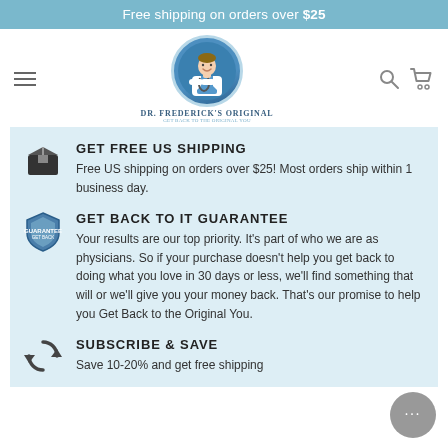Free shipping on orders over $25
[Figure (logo): Dr. Frederick's Original logo with doctor illustration in blue circle]
GET FREE US SHIPPING
Free US shipping on orders over $25! Most orders ship within 1 business day.
GET BACK TO IT GUARANTEE
Your results are our top priority. It's part of who we are as physicians. So if your purchase doesn't help you get back to doing what you love in 30 days or less, we'll find something that will or we'll give you your money back. That's our promise to help you Get Back to the Original You.
SUBSCRIBE & SAVE
Save 10-20% and get free shipping